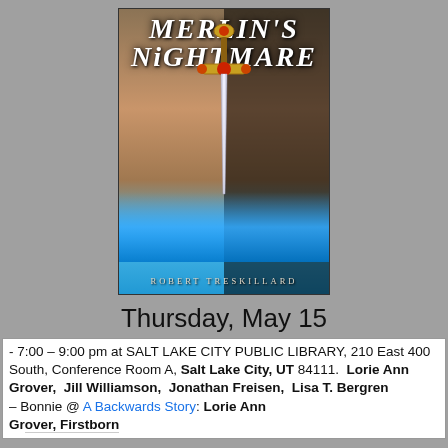[Figure (illustration): Book cover for 'Merlin's Nightmare' by Robert Treskillard, showing a young man's face split by a sword, with blue flames at the bottom and dark fantasy styling.]
Thursday, May 15
- 7:00 – 9:00 pm at SALT LAKE CITY PUBLIC LIBRARY, 210 East 400 South, Conference Room A, Salt Lake City, UT 84111.  Lorie Ann Grover,  Jill Williamson,  Jonathan Freisen,  Lisa T. Bergren
– Bonnie @ A Backwards Story: Lorie Ann Grover, Firstborn